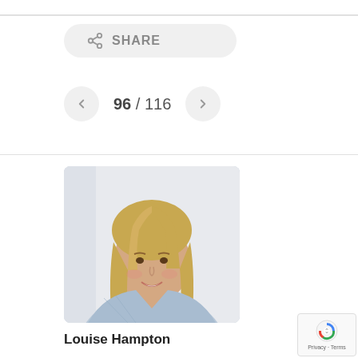[Figure (other): Share button with share icon and text SHARE on light gray pill-shaped background]
96 / 116
[Figure (photo): Professional headshot photo of Louise Hampton, a woman with long straight blonde hair, smiling, wearing a light blue top, against a light gray/white background]
Louise Hampton